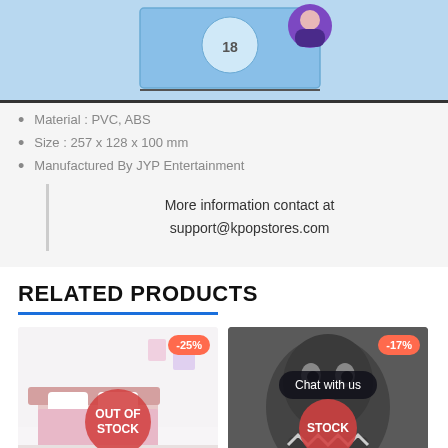[Figure (screenshot): Product box image of a blue clock/game box with a cartoon character avatar in the top right corner]
Material : PVC, ABS
Size : 257 x 128 x 100 mm
Manufactured By JYP Entertainment
More information contact at support@kpopstores.com
RELATED PRODUCTS
[Figure (photo): Product card showing a bedroom scene with pink bedding, discount badge -25%, and OUT OF STOCK overlay]
[Figure (photo): Product card showing a dark creature/plush figure, discount badge -17%, Chat with us button, and STOCK overlay]